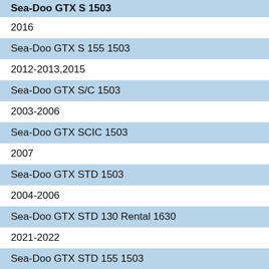Sea-Doo GTX S 1503
2016
Sea-Doo GTX S 155 1503
2012-2013,2015
Sea-Doo GTX S/C 1503
2003-2006
Sea-Doo GTX SCIC 1503
2007
Sea-Doo GTX STD 1503
2004-2006
Sea-Doo GTX STD 130 Rental 1630
2021-2022
Sea-Doo GTX STD 155 1503
2017
Sea-Doo GTX STD 170 1630
2020-2022
Sea-Doo GTX STD 230 1630
2020-2022
Sea-Doo GTX STD 300 1630
2021-2022